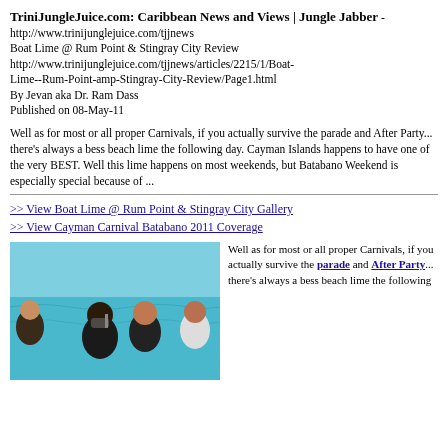TriniJungleJuice.com: Caribbean News and Views | Jungle Jabber - http://www.trinijunglejuice.com/tjjnews
Boat Lime @ Rum Point & Stingray City Review
http://www.trinijunglejuice.com/tjjnews/articles/2215/1/Boat-Lime--Rum-Point-amp-Stingray-City-Review/Page1.html
By Jevan aka Dr. Ram Dass
Published on 08-May-11
Well as for most or all proper Carnivals, if you actually survive the parade and After Party... there's always a bess beach lime the following day. Cayman Islands happens to have one of the very BEST. Well this lime happens on most weekends, but Batabano Weekend is especially special because of ...
>> View Boat Lime @ Rum Point & Stingray City Gallery
>> View Cayman Carnival Batabano 2011 Coverage
[Figure (photo): People standing in shallow turquoise water, some wearing snorkel gear, at Rum Point / Stingray City in the Cayman Islands]
Well as for most or all proper Carnivals, if you actually survive the parade and After Party... there's always a bess beach lime the following